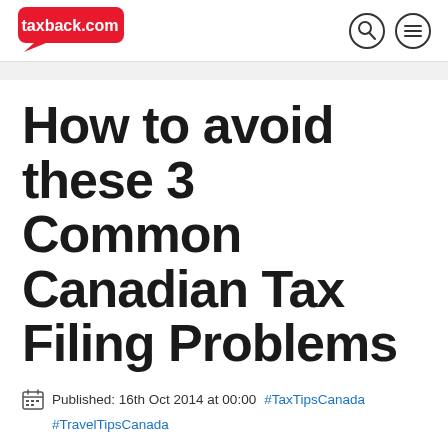taxback.com
How to avoid these 3 Common Canadian Tax Filing Problems
Published: 16th Oct 2014 at 00:00   #TaxTipsCanada   #TravelTipsCanada